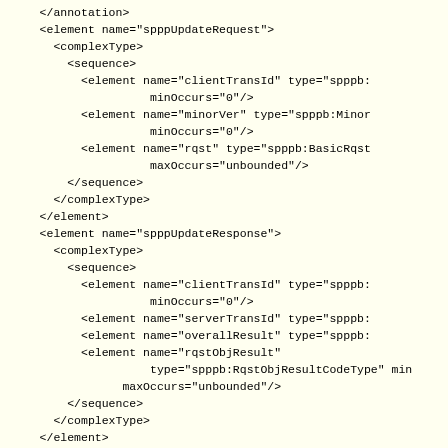</annotation>
    <element name="spppUpdateRequest">
      <complexType>
        <sequence>
          <element name="clientTransId" type="spppb:
                    minOccurs="0"/>
          <element name="minorVer" type="spppb:Minor
                    minOccurs="0"/>
          <element name="rqst" type="spppb:BasicRqst
                    maxOccurs="unbounded"/>
        </sequence>
      </complexType>
    </element>
    <element name="spppUpdateResponse">
      <complexType>
        <sequence>
          <element name="clientTransId" type="spppb:
                    minOccurs="0"/>
          <element name="serverTransId" type="spppb:
          <element name="overallResult" type="spppb:
          <element name="rqstObjResult"
                    type="spppb:RqstObjResultCodeType" min
                maxOccurs="unbounded"/>
        </sequence>
      </complexType>
    </element>
    <element name="spppQueryRequest">
      <complexType>
        <sequence>
          <element name="minorVer" type="spppb:Minor
                  minOccurs="0"/>